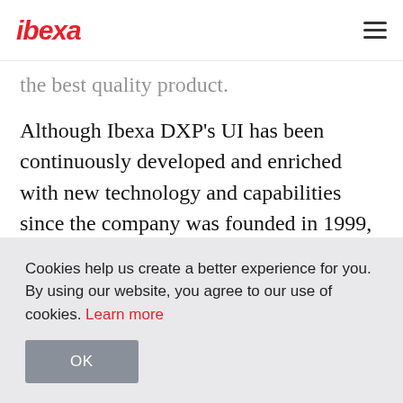ibexa [logo] [hamburger menu]
the best quality product.
Although Ibexa DXP's UI has been continuously developed and enriched with new technology and capabilities since the company was founded in 1999, the time was now ripe for a highly structured, deep review of the UI and UX design to challenge the DXP's navigation structure and
Cookies help us create a better experience for you. By using our website, you agree to our use of cookies. Learn more
OK